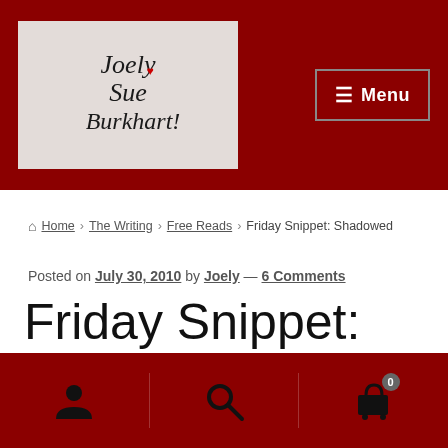Joely Sue Burkhart — Menu
Home › The Writing › Free Reads › Friday Snippet: Shadowed
Posted on July 30, 2010 by Joely — 6 Comments
Friday Snippet: Shadowed
[Figure (photo): Dark partial image at the bottom of the article area]
Account icon, Search icon, Cart icon with badge 0